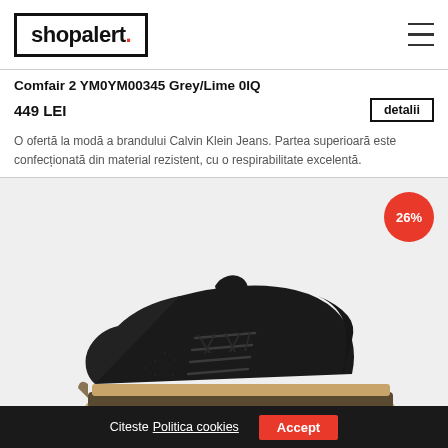shopalert.
Comfair 2 YM0YM00345 Grey/Lime 0IQ
449 LEI
detalii
O ofertă la modă a brandului Calvin Klein Jeans. Partea superioară este confecționată din material rezistent, cu o respirabilitate excelentă.
[Figure (photo): Black Calvin Klein Jeans sneaker with laces and a chunky beige/tan sole, photographed from the side on a light grey background. A red circular badge showing 26% discount is in the top right corner.]
Citeste Politica cookies  Accept